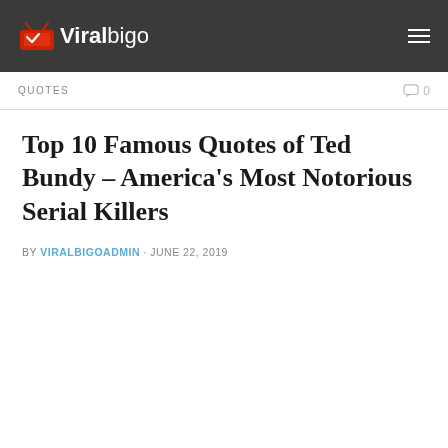Viralbigo
QUOTES   0
Top 10 Famous Quotes of Ted Bundy – America's Most Notorious Serial Killers
BY VIRALBIGOADMIN · JUNE 22, 2019